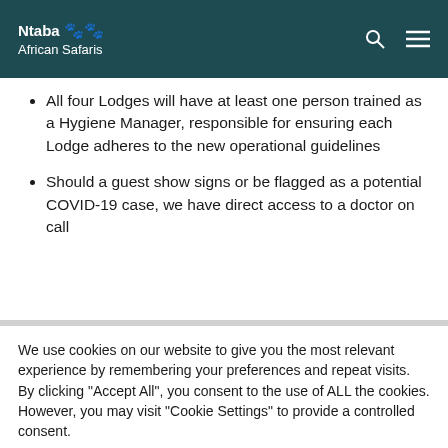Ntaba African Safaris
All four Lodges will have at least one person trained as a Hygiene Manager, responsible for ensuring each Lodge adheres to the new operational guidelines
Should a guest show signs or be flagged as a potential COVID-19 case, we have direct access to a doctor on call
We use cookies on our website to give you the most relevant experience by remembering your preferences and repeat visits. By clicking "Accept All", you consent to the use of ALL the cookies. However, you may visit "Cookie Settings" to provide a controlled consent.